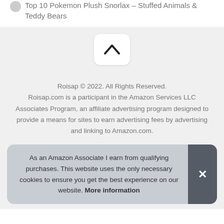Top 10 Pokemon Plush Snorlax – Stuffed Animals & Teddy Bears
[Figure (other): Scroll to top button with upward chevron arrow on white rounded rectangle]
Roisap © 2022. All Rights Reserved. Roisap.com is a participant in the Amazon Services LLC Associates Program, an affiliate advertising program designed to provide a means for sites to earn advertising fees by advertising and linking to Amazon.com.
As an Amazon Associate I earn from qualifying purchases. This website uses the only necessary cookies to ensure you get the best experience on our website. More information